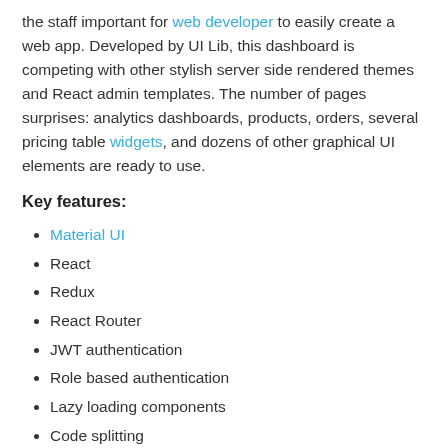the staff important for web developer to easily create a web app. Developed by UI Lib, this dashboard is competing with other stylish server side rendered themes and React admin templates. The number of pages surprises: analytics dashboards, products, orders, several pricing table widgets, and dozens of other graphical UI elements are ready to use.
Key features:
Material UI
React
Redux
React Router
JWT authentication
Role based authentication
Lazy loading components
Code splitting